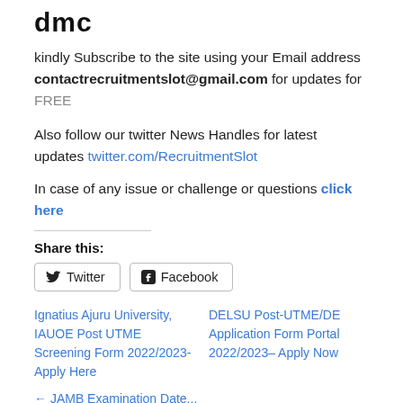dmc
kindly Subscribe to the site using your Email address contactrecruitmentslot@gmail.com for updates for FREE
Also follow our twitter News Handles for latest updates twitter.com/RecruitmentSlot
In case of any issue or challenge or questions click here
Share this:
Twitter  Facebook
Ignatius Ajuru University, IAUOE Post UTME Screening Form 2022/2023- Apply Here
DELSU Post-UTME/DE Application Form Portal 2022/2023– Apply Now
JAMB Examination Date...